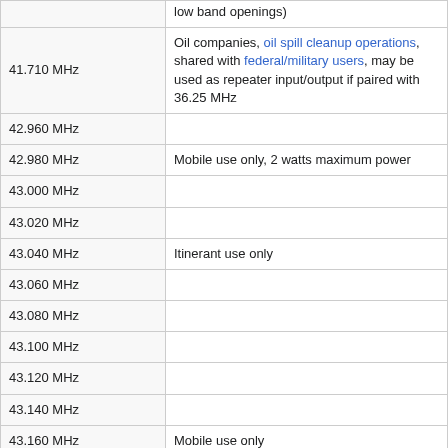| Frequency | Notes |
| --- | --- |
|  | low band openings) |
| 41.710 MHz | Oil companies, oil spill cleanup operations, shared with federal/military users, may be used as repeater input/output if paired with 36.25 MHz |
| 42.960 MHz |  |
| 42.980 MHz | Mobile use only, 2 watts maximum power |
| 43.000 MHz |  |
| 43.020 MHz |  |
| 43.040 MHz | Itinerant use only |
| 43.060 MHz |  |
| 43.080 MHz |  |
| 43.100 MHz |  |
| 43.120 MHz |  |
| 43.140 MHz |  |
| 43.160 MHz | Mobile use only |
| 43.180 MHz |  |